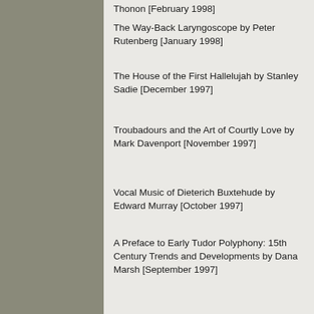Thonon [February 1998]
The Way-Back Laryngoscope by Peter Rutenberg [January 1998]
The House of the First Hallelujah by Stanley Sadie [December 1997]
Troubadours and the Art of Courtly Love by Mark Davenport [November 1997]
Vocal Music of Dieterich Buxtehude by Edward Murray [October 1997]
A Preface to Early Tudor Polyphony: 15th Century Trends and Developments by Dana Marsh [September 1997]
Volume 21
Italian Jazz, circa 1600 by James G. Lidgett